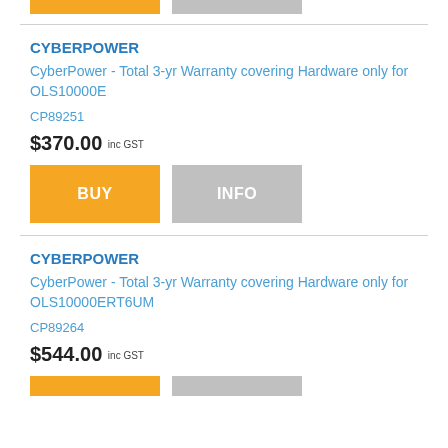[Figure (other): Partial orange BUY button and gray INFO button tops visible at top of page]
CYBERPOWER
CyberPower - Total 3-yr Warranty covering Hardware only for OLS10000E
CP89251
$370.00 inc GST
[Figure (other): Orange BUY button and gray INFO button]
CYBERPOWER
CyberPower - Total 3-yr Warranty covering Hardware only for OLS10000ERT6UM
CP89264
$544.00 inc GST
[Figure (other): Partial orange BUY button and gray INFO button visible at bottom of page]